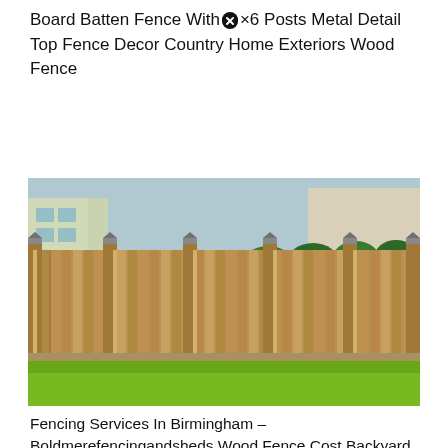Board Batten Fence With ⊗×6 Posts Metal Detail Top Fence Decor Country Home Exteriors Wood Fence
[Figure (photo): Photograph of a long wooden board and batten fence with metal post caps along a green lawn, with trimmed hedges and a building visible in the background.]
Fencing Services In Birmingham – Boldmerefencingandsheds Wood Fence Cost Backyard Fences Fence Landscaping ⊗